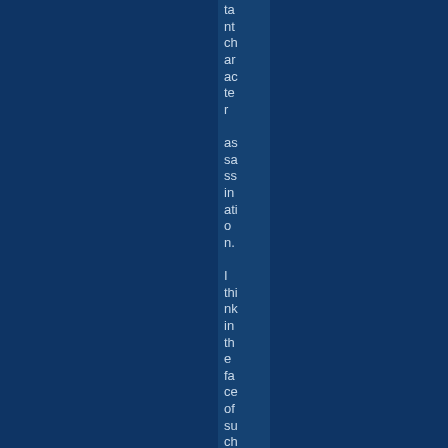tant
character
assassination.

I think in the face of such a background